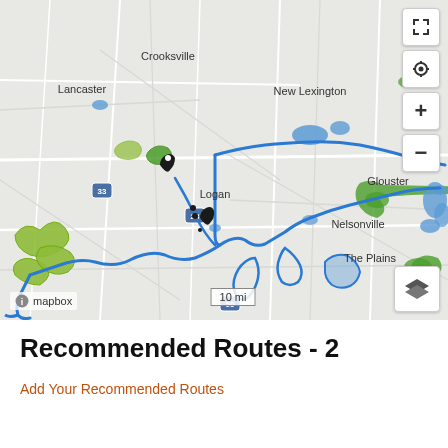[Figure (map): Mapbox interactive map showing a region of Ohio including Lancaster, New Lexington, Logan, Glouster, Nelsonville, The Plains, and Athens area. Blue route lines trace a winding path across the map. Green and yellow highlighted areas visible. Map controls (fullscreen, locate, zoom in/out, layers) on the right side. Scale bar showing 10 mi at the bottom. Mapbox attribution bottom-left.]
Recommended Routes - 2
Add Your Recommended Routes